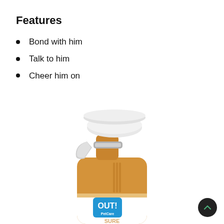Features
Bond with him
Talk to him
Cheer him on
[Figure (photo): OUT! PetCare spray bottle with orange/tan body and white trigger sprayer, partially cropped showing upper half of bottle including trigger mechanism and brand label reading OUT! PetCare]